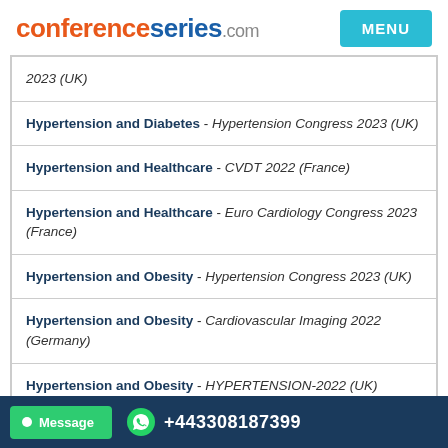conferenceseries.com | MENU
2023 (UK)
Hypertension and Diabetes - Hypertension Congress 2023 (UK)
Hypertension and Healthcare - CVDT 2022 (France)
Hypertension and Healthcare - Euro Cardiology Congress 2023 (France)
Hypertension and Obesity - Hypertension Congress 2023 (UK)
Hypertension and Obesity - Cardiovascular Imaging 2022 (Germany)
Hypertension and Obesity - HYPERTENSION-2022 (UK)
Hypertension and Obesity - [partially visible]
Message  +443308187399